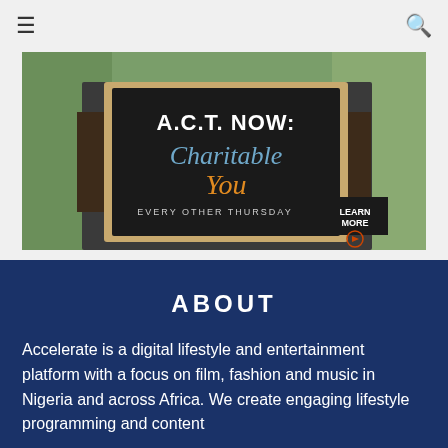≡  🔍
[Figure (photo): A person holding a sign that reads 'A.C.T. NOW: Charitable You – Every Other Thursday' with a 'Learn More' call to action button with a play icon.]
ABOUT
Accelerate is a digital lifestyle and entertainment platform with a focus on film, fashion and music in Nigeria and across Africa. We create engaging lifestyle programming and content